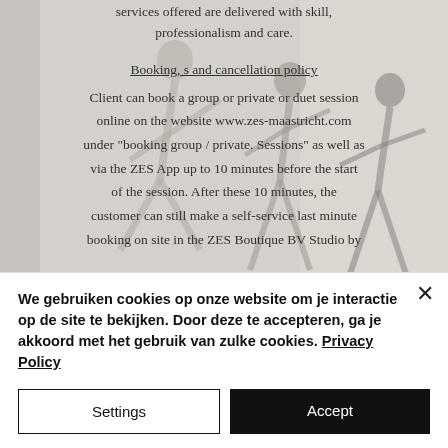services offered are delivered with skill, professionalism and care.
Booking, s and cancellation policy
Client can book a group or private or duet session online on the website www.zes-maastricht.com under "booking group / private. Sessions" as well as via the ZES App up to 10 minutes before the start of the session. After these 10 minutes, the customer can still make a self-service last minute booking on site in the ZES Boutique BV Studio by
[Figure (photo): Yoga practitioners in a studio doing yoga poses, used as background image]
We gebruiken cookies op onze website om je interactie op de site te bekijken. Door deze te accepteren, ga je akkoord met het gebruik van zulke cookies. Privacy Policy
Settings
Accept